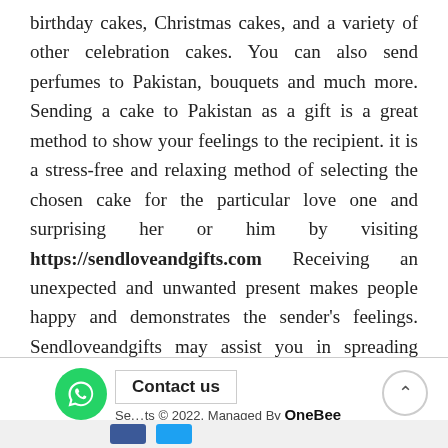birthday cakes, Christmas cakes, and a variety of other celebration cakes. You can also send perfumes to Pakistan, bouquets and much more. Sending a cake to Pakistan as a gift is a great method to show your feelings to the recipient. it is a stress-free and relaxing method of selecting the chosen cake for the particular love one and surprising her or him by visiting https://sendloveandgifts.com Receiving an unexpected and unwanted present makes people happy and demonstrates the sender's feelings. Sendloveandgifts may assist you in spreading happiness among your family by wishing them on special occasions. We provide cake delivery in Pakistan at an inexpensive and fair cost. We provide competent and responsible services to essential and valuable clients who are separated from their friends and families. You may add a smile to their cheeks by sending cake to Pakistan.
Contact us | Se...ts © 2022. Managed By OneBee